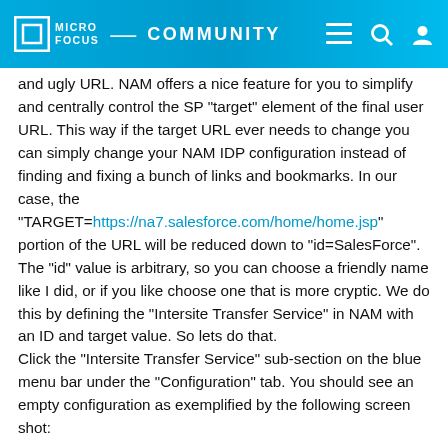MICRO FOCUS COMMUNITY
and ugly URL. NAM offers a nice feature for you to simplify and centrally control the SP "target" element of the final user URL. This way if the target URL ever needs to change you can simply change your NAM IDP configuration instead of finding and fixing a bunch of links and bookmarks. In our case, the "TARGET=https://na7.salesforce.com/home/home.jsp" portion of the URL will be reduced down to "id=SalesForce". The "id" value is arbitrary, so you can choose a friendly name like I did, or if you like choose one that is more cryptic. We do this by defining the "Intersite Transfer Service" in NAM with an ID and target value. So lets do that.
Click the "Intersite Transfer Service" sub-section on the blue menu bar under the "Configuration" tab. You should see an empty configuration as exemplified by the following screen shot: